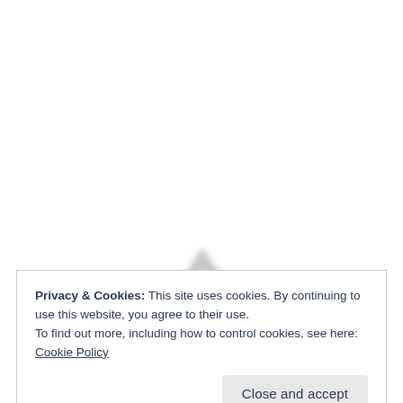[Figure (illustration): Partial blurred triangle/arrow shape in light gray, partially obscured by the cookie consent banner overlay]
Privacy & Cookies: This site uses cookies. By continuing to use this website, you agree to their use.
To find out more, including how to control cookies, see here: Cookie Policy
Close and accept